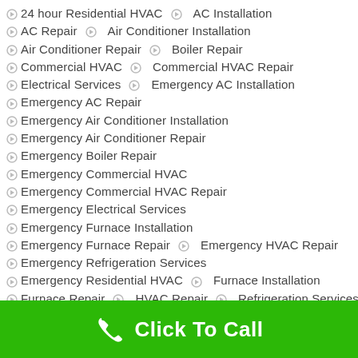24 hour Residential HVAC
AC Installation
AC Repair
Air Conditioner Installation
Air Conditioner Repair
Boiler Repair
Commercial HVAC
Commercial HVAC Repair
Electrical Services
Emergency AC Installation
Emergency AC Repair
Emergency Air Conditioner Installation
Emergency Air Conditioner Repair
Emergency Boiler Repair
Emergency Commercial HVAC
Emergency Commercial HVAC Repair
Emergency Electrical Services
Emergency Furnace Installation
Emergency Furnace Repair
Emergency HVAC Repair
Emergency Refrigeration Services
Emergency Residential HVAC
Furnace Installation
Furnace Repair
HVAC Repair
Refrigeration Services
Residential HVAC
Click To Call